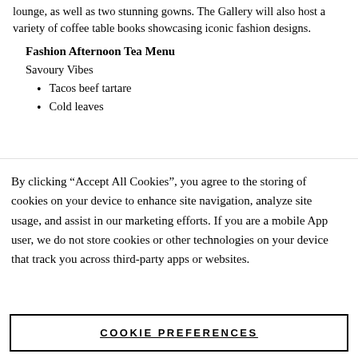lounge, as well as two stunning gowns. The Gallery will also host a variety of coffee table books showcasing iconic fashion designs.
Fashion Afternoon Tea Menu
Savoury Vibes
Tacos beef tartare
Cold leaves
By clicking “Accept All Cookies”, you agree to the storing of cookies on your device to enhance site navigation, analyze site usage, and assist in our marketing efforts. If you are a mobile App user, we do not store cookies or other technologies on your device that track you across third-party apps or websites.
COOKIE PREFERENCES